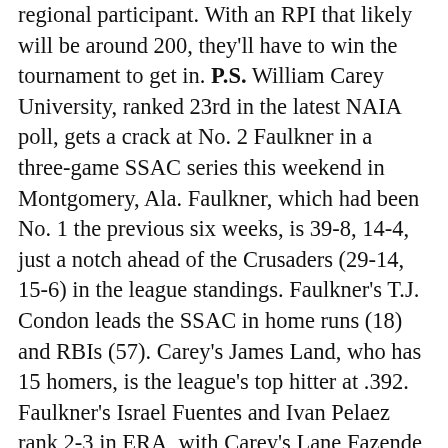regional participant. With an RPI that likely will be around 200, they'll have to win the tournament to get in. P.S. William Carey University, ranked 23rd in the latest NAIA poll, gets a crack at No. 2 Faulkner in a three-game SSAC series this weekend in Montgomery, Ala. Faulkner, which had been No. 1 the previous six weeks, is 39-8, 14-4, just a notch ahead of the Crusaders (29-14, 15-6) in the league standings. Faulkner's T.J. Condon leads the SSAC in home runs (18) and RBIs (57). Carey's James Land, who has 15 homers, is the league's top hitter at .392. Faulkner's Israel Fuentes and Ivan Pelaez rank 2-3 in ERA, with Carey's Lane Fazende and Cole Edgens at 4-5. ... Belhaven is ranked 10th in the NCCAA poll released this week and may be positioned for an invitation to